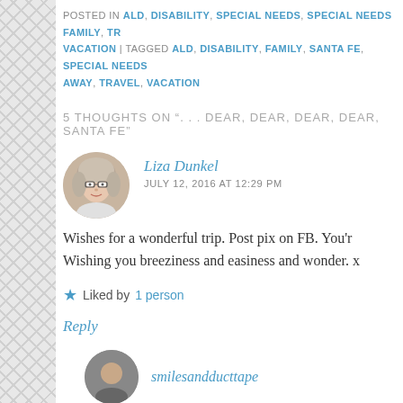POSTED IN ALD, DISABILITY, SPECIAL NEEDS, SPECIAL NEEDS FAMILY, TR… VACATION | TAGGED ALD, DISABILITY, FAMILY, SANTA FE, SPECIAL NEEDS… AWAY, TRAVEL, VACATION
5 THOUGHTS ON ". . . DEAR, DEAR, DEAR, DEAR, SANTA FE"
Liza Dunkel
JULY 12, 2016 AT 12:29 PM
Wishes for a wonderful trip. Post pix on FB. You'r… Wishing you breeziness and easiness and wonder. x
Liked by 1 person
Reply
smilesandducttape